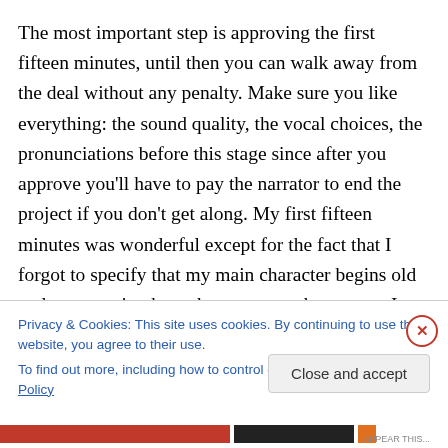The most important step is approving the first fifteen minutes, until then you can walk away from the deal without any penalty. Make sure you like everything: the sound quality, the vocal choices, the pronunciations before this stage since after you approve you'll have to pay the narrator to end the project if you don't get along. My first fifteen minutes was wonderful except for the fact that I forgot to specify that my main character begins old and at a certain phrase becomes much younger. It slipped my mind and I felt terrible to tell them that they wasted five minutes at the end since it had to be changed. They were
Privacy & Cookies: This site uses cookies. By continuing to use this website, you agree to their use.
To find out more, including how to control cookies, see here: Cookie Policy
Close and accept